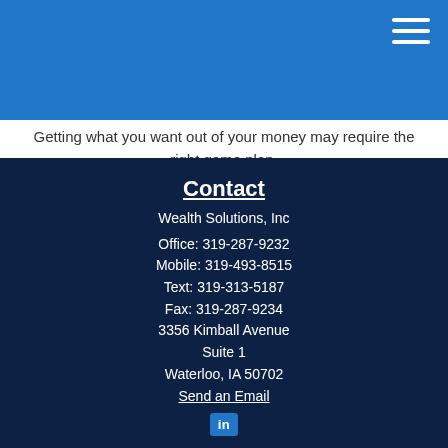Getting what you want out of your money may require the right game plan.
Contact
Wealth Solutions, Inc
Office: 319-287-9232
Mobile: 319-493-8515
Text: 319-313-5187
Fax: 319-287-9234
3356 Kimball Avenue
Suite 1
Waterloo, IA 50702
Send an Email